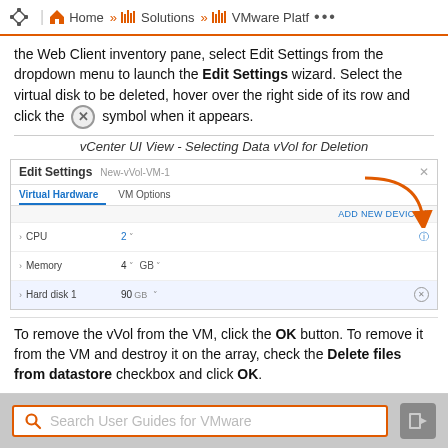Home » Solutions » VMware Platf ...
the Web Client inventory pane, select Edit Settings from the dropdown menu to launch the Edit Settings wizard. Select the virtual disk to be deleted, hover over the right side of its row and click the ⊗ symbol when it appears.
vCenter UI View - Selecting Data vVol for Deletion
[Figure (screenshot): Edit Settings dialog for New-vVol-VM-1 showing Virtual Hardware tab with CPU (2), Memory (4 GB), and Hard disk 1 (90 GB) rows. An orange arrow points to the delete (x) icon on the Hard disk 1 row.]
To remove the vVol from the VM, click the OK button. To remove it from the VM and destroy it on the array, check the Delete files from datastore checkbox and click OK.
Search User Guides for VMware